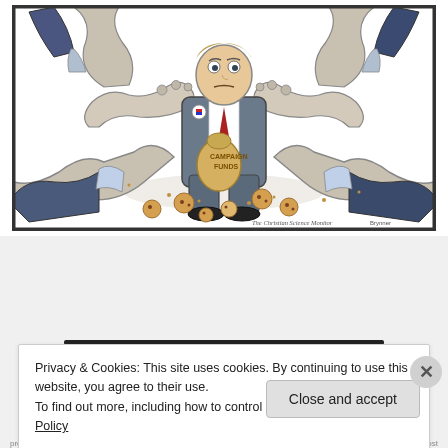[Figure (illustration): Political cartoon from The Christian Science Monitor showing a politician in a suit hunched over clutching a bag labeled 'Campaign Funds' while multiple large hands point accusingly at him from all sides. Cookies are scattered on the ground. Text at bottom right reads 'The Christian Science Monitor'.]
Privacy & Cookies: This site uses cookies. By continuing to use this website, you agree to their use.
To find out more, including how to control cookies, see here: Cookie Policy
Close and accept